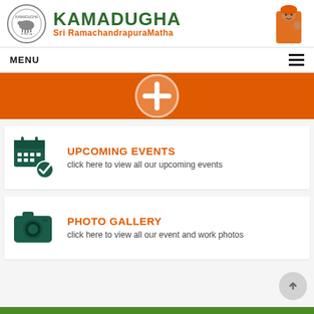[Figure (logo): Kamadugha Sri RamachandrapuraMatha header with circular logo, green bold KAMADUGHA text, orange subtitle Sri RamachandrapuraMatha, and swami photo on right]
MENU
[Figure (infographic): Orange banner with a white circular plus/add icon]
[Figure (illustration): Dark teal calendar icon with checkmark]
UPCOMING EVENTS
click here to view all our upcoming events
[Figure (illustration): Dark teal camera icon]
PHOTO GALLERY
click here to view all our event and work photos